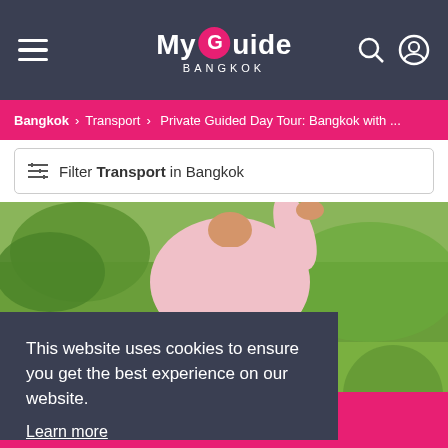My Guide Bangkok
Bangkok > Transport > Private Guided Day Tour: Bangkok with ...
Filter Transport in Bangkok
[Figure (photo): Person wearing a pink polo shirt outdoors with green foliage in background]
This website uses cookies to ensure you get the best experience on our website. Learn more
Got it!